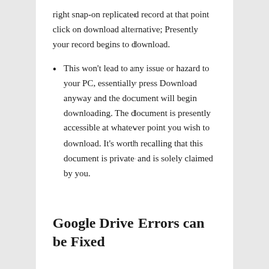right snap-on replicated record at that point click on download alternative; Presently your record begins to download.
This won't lead to any issue or hazard to your PC, essentially press Download anyway and the document will begin downloading. The document is presently accessible at whatever point you wish to download. It's worth recalling that this document is private and is solely claimed by you.
Google Drive Errors can be Fixed